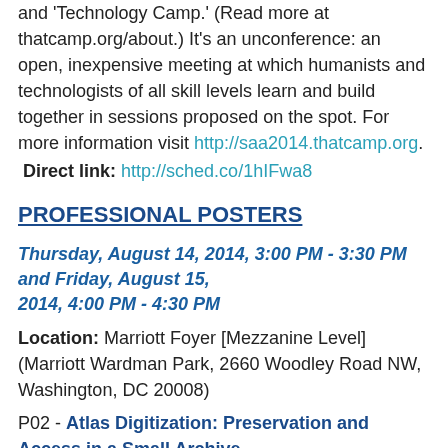and 'Technology Camp.' (Read more at thatcamp.org/about.) It's an unconference: an open, inexpensive meeting at which humanists and technologists of all skill levels learn and build together in sessions proposed on the spot. For more information visit http://saa2014.thatcamp.org.
Direct link: http://sched.co/1hIFwa8
PROFESSIONAL POSTERS
Thursday, August 14, 2014, 3:00 PM - 3:30 PM and Friday, August 15, 2014, 4:00 PM - 4:30 PM
Location: Marriott Foyer [Mezzanine Level] (Marriott Wardman Park, 2660 Woodley Road NW, Washington, DC 20008)
P02 - Atlas Digitization: Preservation and Access in a Small Archive
Description: The Oyster Bay Historical Society houses a collection of bound atlases from the 19th and 20th centuries.